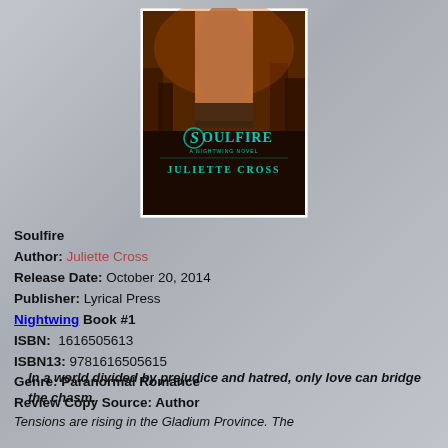[Figure (illustration): Book cover for Soulfire by Juliette Cross, A Nightwing Novel. Dark background with city skyline, shirtless male torso, teal decorative letter S, teal title text SOULFIRE, subtitle A NIGHTWING NOVEL, and author name JULIETTE CROSS at the bottom in teal. White border around cover.]
Soulfire
Author: Juliette Cross
Release Date: October 20, 2014
Publisher: Lyrical Press
Nightwing Book #1
ISBN:  1616505613
ISBN13: 9781616505615
Genre: Paranormal Romance
Review Copy Source: Author
In a world divided by prejudice and hatred, only love can bridge the chasm.
Tensions are rising in the Gladium Province. The